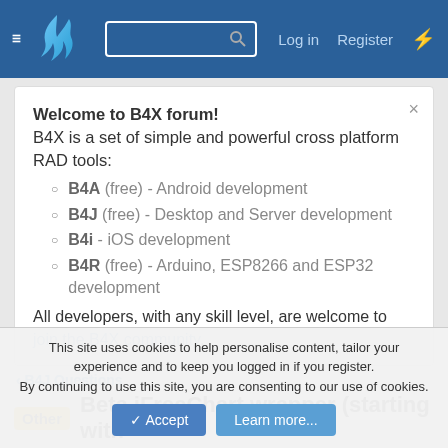B4X Forum header with logo, search, Log in, Register
Welcome to B4X forum!
B4X is a set of simple and powerful cross platform RAD tools:
B4A (free) - Android development
B4J (free) - Desktop and Server development
B4i - iOS development
B4R (free) - Arduino, ESP8266 and ESP32 development
All developers, with any skill level, are welcome to join the B4X community.
< B4J Questions
Other Beta jFreeChart wrapper (starting with
This site uses cookies to help personalise content, tailor your experience and to keep you logged in if you register.
By continuing to use this site, you are consenting to our use of cookies.